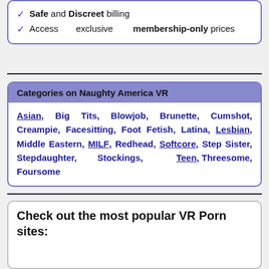Safe and Discreet billing
Access exclusive membership-only prices
Categories on Naughty America VR
Asian, Big Tits, Blowjob, Brunette, Cumshot, Creampie, Facesitting, Foot Fetish, Latina, Lesbian, Middle Eastern, MILF, Redhead, Softcore, Step Sister, Stepdaughter, Stockings, Teen, Threesome, Foursome
Check out the most popular VR Porn sites: